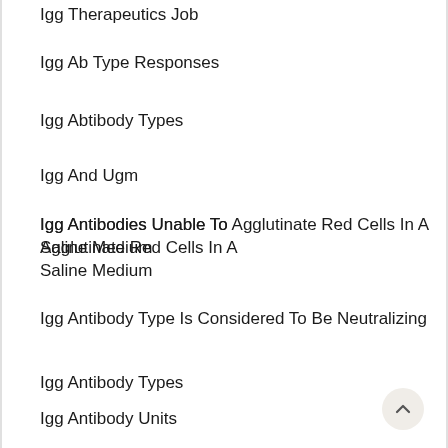Igg Therapeutics Job
Igg Ab Type Responses
Igg Abtibody Types
Igg And Ugm
Igg Antibodies Unable To Agglutinate Red Cells In A Saline Medium
Igg Antibody Type Is Considered To Be Neutralizing
Igg Antibody Types
Igg Antibody Units
Igg Antibody Urlicosis